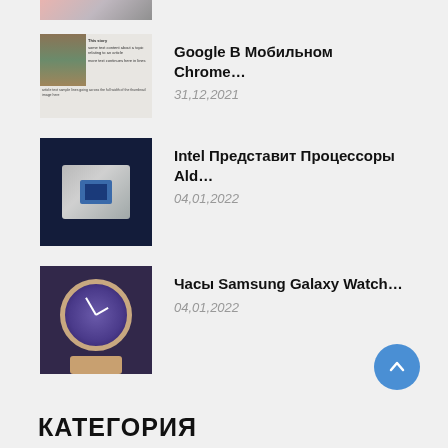[Figure (photo): Partial top thumbnail of a phone/device image cropped at top]
[Figure (photo): Thumbnail showing a Wikipedia or article screenshot with text and an image]
Google В Мобильном Chrome…
31,12,2021
[Figure (photo): Intel processor chip on dark blue fabric background]
Intel Представит Процессоры Ald…
04,01,2022
[Figure (photo): Samsung Galaxy Watch on a wrist, rose gold color]
Часы Samsung Galaxy Watch…
04,01,2022
КАТЕГОРИЯ